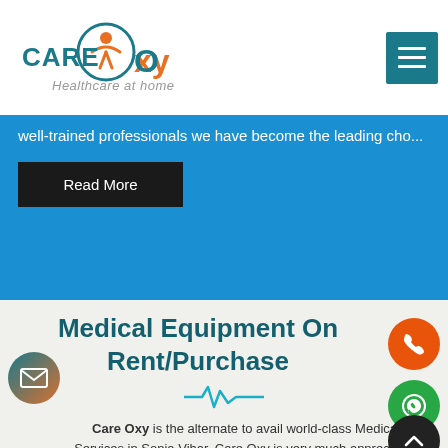[Figure (logo): CareOxy logo with orange figure and teal circle, text 'CARE Oxy' in teal and orange, tagline 'Healthcare at home']
well-trained professionals we have become the leading cho...
Read More
Medical Equipment On Rent/Purchase
[Figure (illustration): Heartbeat/pulse line icon in teal]
Care Oxy is the alternate to avail world-class Medical Services in Sonia Vihar, Care Oxy is very much appreciated for the services being provided within time and by experts.